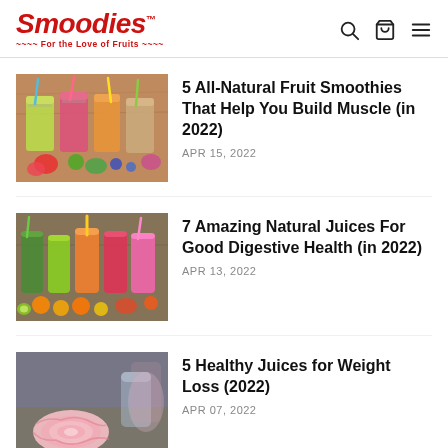Smoodies™ — For the Love of Fruits
[Figure (photo): Multiple colorful fruit smoothies in mason jars with straws, surrounded by fresh fruits including strawberries, kiwi, and blueberries on a wooden surface.]
5 All-Natural Fruit Smoothies That Help You Build Muscle (in 2022)
APR 15, 2022
[Figure (photo): Row of colorful natural juices in glasses and jars including green, orange, red, and pink, surrounded by fruits and citrus on a wooden table.]
7 Amazing Natural Juices For Good Digestive Health (in 2022)
APR 13, 2022
[Figure (photo): A measuring tape coiled on a table surface with a blurred juice or smoothie glass in the background.]
5 Healthy Juices for Weight Loss (2022)
APR 07, 2022